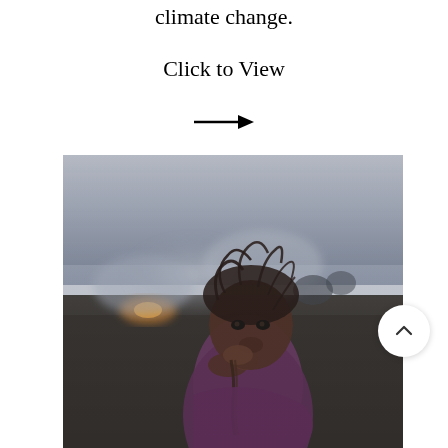climate change.
Click to View
[Figure (other): Right-pointing arrow navigation symbol]
[Figure (photo): A young child with disheveled hair and a soiled purple dress, sitting in a smoky, darkened landscape, looking directly at the camera. The background shows smoke and fire, evoking scenes of poverty and environmental degradation.]